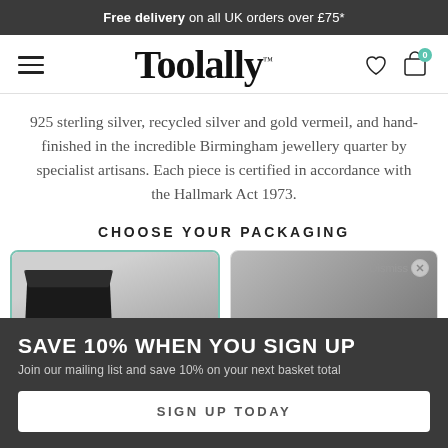Free delivery on all UK orders over £75*
[Figure (logo): Toolally brand logo with hamburger menu, heart icon, and shopping bag icon showing 0 items]
925 sterling silver, recycled silver and gold vermeil, and hand-finished in the incredible Birmingham jewellery quarter by specialist artisans. Each piece is certified in accordance with the Hallmark Act 1973.
CHOOSE YOUR PACKAGING
[Figure (photo): Two packaging option cards side by side: first card with teal border showing an open dark jewellery box, second card with grey border showing black tissue wrapping with a Dismiss button]
SAVE 10% WHEN YOU SIGN UP
Join our mailing list and save 10% on your next basket total
SIGN UP TODAY